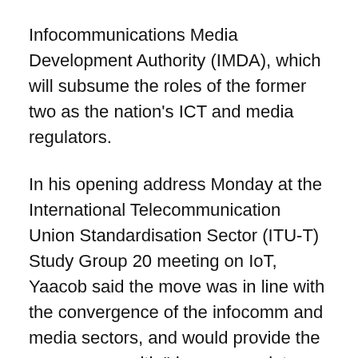Infocommunications Media Development Authority (IMDA), which will subsume the roles of the former two as the nation's ICT and media regulators.
In his opening address Monday at the International Telecommunication Union Standardisation Sector (ITU-T) Study Group 20 meeting on IoT, Yaacob said the move was in line with the convergence of the infocomm and media sectors, and would provide the new agency with "deepen regulator capabilities" to lead the industry. The merged entity also would drive the country's national 10-year ICT roadmap, Infocomm Media 2025, and oversee the local personal data protection legislation.
"The new IMDA will be the converged promoter and